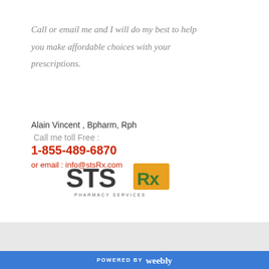Call or email me and I will do my best to help you make affordable choices with your prescriptions.
Alain Vincent , Bpharm, Rph
Call me toll Free :
1-855-489-6870
or email : info@stsRx.com
[Figure (logo): STS Rx Pharmacy Services logo — STS in dark gray bold text, Rx in an orange/yellow rectangle, PHARMACY SERVICES in small spaced caps below]
POWERED BY weebly